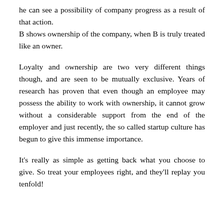he can see a possibility of company progress as a result of that action. B shows ownership of the company, when B is truly treated like an owner.
Loyalty and ownership are two very different things though, and are seen to be mutually exclusive. Years of research has proven that even though an employee may possess the ability to work with ownership, it cannot grow without a considerable support from the end of the employer and just recently, the so called startup culture has begun to give this immense importance.
It's really as simple as getting back what you choose to give. So treat your employees right, and they'll replay you tenfold!